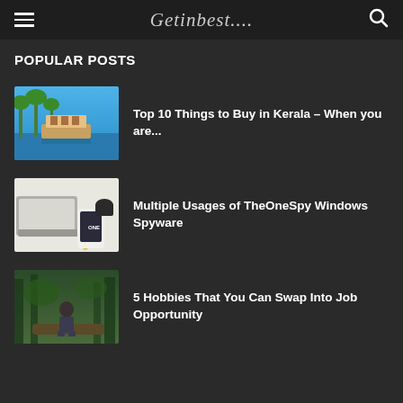Getinbest....
POPULAR POSTS
[Figure (photo): Houseboat on a Kerala backwater with palm trees]
Top 10 Things to Buy in Kerala – When you are...
[Figure (photo): Laptop and smartphone on a white desk]
Multiple Usages of TheOneSpy Windows Spyware
[Figure (photo): Person sitting outdoors in a forest setting]
5 Hobbies That You Can Swap Into Job Opportunity